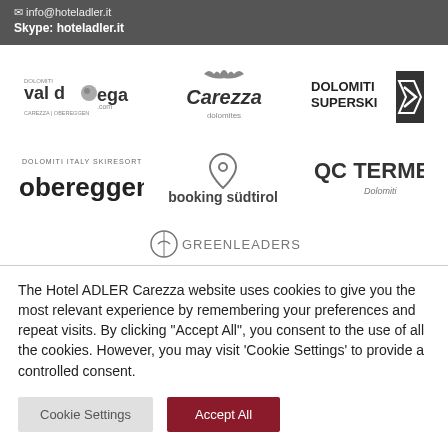info@hoteladler.it
Skype: hoteladler.it
[Figure (logo): Val d'Ega .com logo - Dolomiti Carezza Obereggen]
[Figure (logo): Carezza Dolomites logo]
[Figure (logo): Dolomiti Superski logo]
[Figure (logo): Obereggen - Dolomiti Italy Skiresort logo]
[Figure (logo): Booking Südtirol logo]
[Figure (logo): QC Terme Dolomiti logo]
[Figure (logo): Green Leaders logo (partially visible)]
The Hotel ADLER Carezza website uses cookies to give you the most relevant experience by remembering your preferences and repeat visits. By clicking "Accept All", you consent to the use of all the cookies. However, you may visit 'Cookie Settings' to provide a controlled consent.
Cookie Settings | Accept All